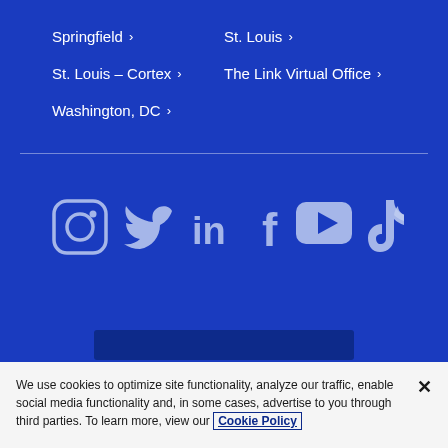Springfield ›
St. Louis ›
St. Louis – Cortex ›
The Link Virtual Office ›
Washington, DC ›
[Figure (infographic): Social media icons: Instagram, Twitter, LinkedIn, Facebook, YouTube, TikTok — displayed in a row on blue background]
Stay updated.
Subscribe to receive Husch Blackwell's news and insights.
We use cookies to optimize site functionality, analyze our traffic, enable social media functionality and, in some cases, advertise to you through third parties. To learn more, view our Cookie Policy